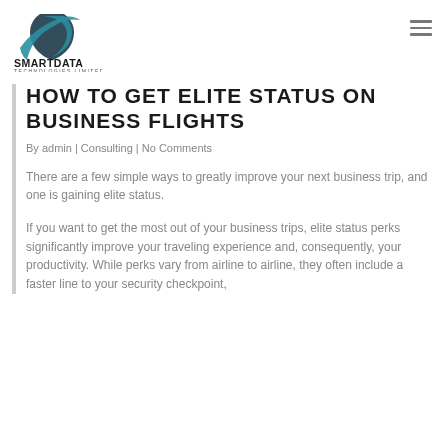[Figure (logo): SmartData Technologies Limited logo with shield/swoosh icon in teal and dark colors]
HOW TO GET ELITE STATUS ON BUSINESS FLIGHTS
By admin | Consulting | No Comments
There are a few simple ways to greatly improve your next business trip, and one is gaining elite status.
If you want to get the most out of your business trips, elite status perks significantly improve your traveling experience and, consequently, your productivity. While perks vary from airline to airline, they often include a faster line to your security checkpoint,